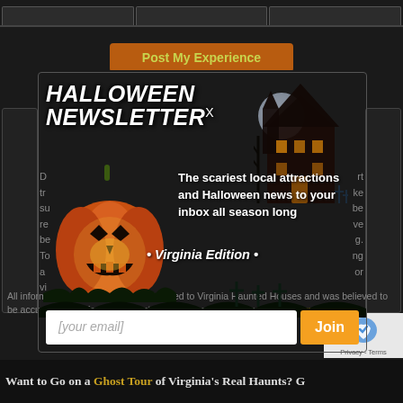[Figure (screenshot): Top navigation tab bar with three tabs on dark background]
Post My Experience
[Figure (infographic): Halloween Newsletter popup modal with pumpkin image, haunted house background, 'HALLOWEEN NEWSLETTER x' title, text 'The scariest local attractions and Halloween news to your inbox all season long', '• Virginia Edition •', email input field and Join button]
Did tr su re be To a vi
All information on this page was submitted to Virginia Haunted Houses and was believed to be accurate at the time it was posted. Please report any inaccuracies here.
Want to Go on a Ghost Tour of Virginia's Real Haunts? G